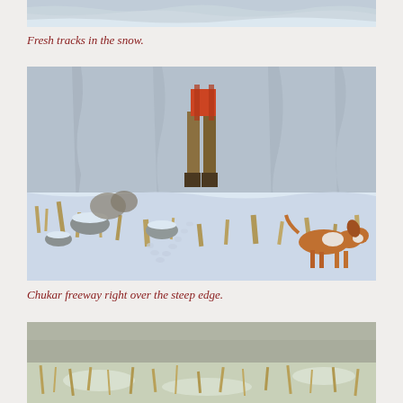[Figure (photo): Top portion of a snowy landscape photo, showing snow-covered terrain with rocky cliff faces in the background.]
Fresh tracks in the snow.
[Figure (photo): A hunter with an orange backpack stands on snowy terrain with dry grass and rocks. A brown and white hunting dog (spaniel) is visible on the right side. Footprints/tracks are visible in the snow leading toward the steep rocky cliff edge in the background.]
Chukar freeway right over the steep edge.
[Figure (photo): Partial view of a snowy field with dry golden grasses and scattered snow patches.]